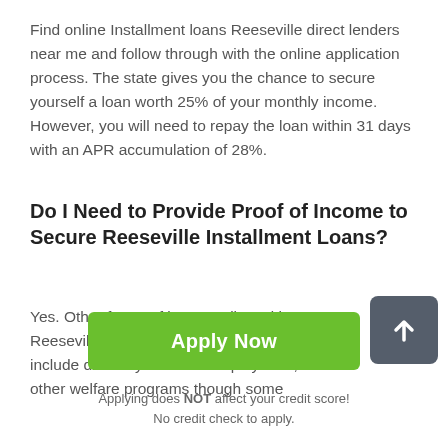Find online Installment loans Reeseville direct lenders near me and follow through with the online application process. The state gives you the chance to secure yourself a loan worth 25% of your monthly income. However, you will need to repay the loan within 31 days with an APR accumulation of 28%.
Do I Need to Provide Proof of Income to Secure Reeseville Installment Loans?
Yes. Other forms of income allowed by Reeseville Installment loans direct lenders include disability inco self-employment, or other welfare programs though some
[Figure (other): Dark grey scroll-to-top button with white upward arrow]
[Figure (other): Green Apply Now button]
Applying does NOT affect your credit score!
No credit check to apply.